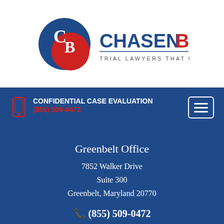[Figure (logo): Chasen Boscolo logo with circular CB emblem in red and blue, text reading CHASEN BOSCOLO TRIAL LAWYERS THAT CARE]
CONFIDENTIAL CASE EVALUATION
(855) 509-0472
Greenbelt Office
7852 Walker Drive
Suite 300
Greenbelt, Maryland 20770
(855) 509-0472
LIVE CHAT  START NOW